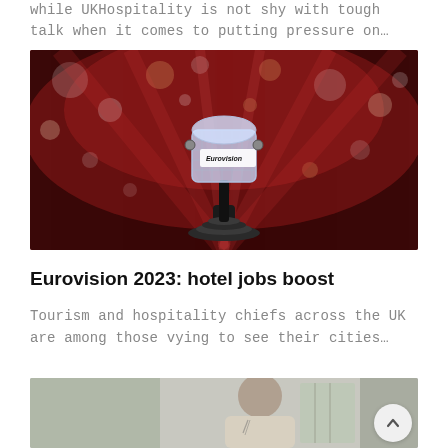while UKHospitality is not shy with tough talk when it comes to putting pressure on…
[Figure (photo): Eurovision Song Contest trophy (crystal microphone) on stage with colorful bokeh lights in the background]
Eurovision 2023: hotel jobs boost
Tourism and hospitality chiefs across the UK are among those vying to see their cities…
[Figure (photo): Man with tattoos and short hair in a restaurant or hospitality setting, partially visible]